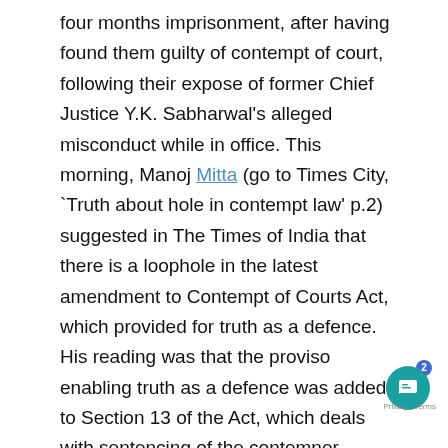four months imprisonment, after having found them guilty of contempt of court, following their expose of former Chief Justice Y.K. Sabharwal's alleged misconduct while in office. This morning, Manoj Mitta (go to Times City, `Truth about hole in contempt law' p.2) suggested in The Times of India that there is a loophole in the latest amendment to Contempt of Courts Act, which provided for truth as a defence. His reading was that the proviso enabling truth as a defence was added to Section 13 of the Act, which deals with sentencing of the contemner. Hence, he suggested that at the time of arguments over sentencing, the Court would have no option but to grant the plea of truth as a defence, even though the same Court might have denied this plea while hearing the plea of the defence opposing the contempt charge against the accused.